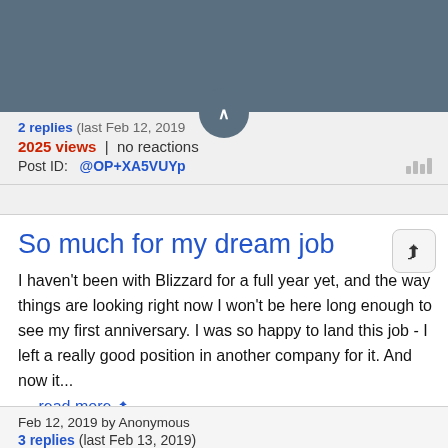[Figure (other): Dark teal/slate header bar at top of page]
2 replies (last Feb 12, 2019)
2025 views | no reactions
Post ID: @OP+XA5VUYp
So much for my dream job
I haven't been with Blizzard for a full year yet, and the way things are looking right now I won't be here long enough to see my first anniversary. I was so happy to land this job - I left a really good position in another company for it. And now it... — read more
Feb 12, 2019 by Anonymous
3 replies (last Feb 13, 2019)